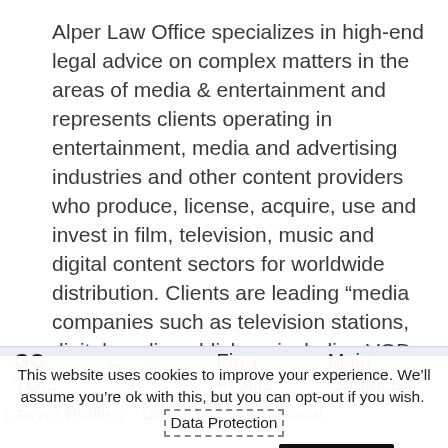Alper Law Office specializes in high-end legal advice on complex matters in the areas of media & entertainment and represents clients operating in entertainment, media and advertising industries and other content providers who produce, license, acquire, use and invest in film, television, music and digital content sectors for worldwide distribution. Clients are leading “media companies such as television stations, digital media publishers including VOD platforms, film producers, rights traders, book and magazine
GO TO...  Rankings  Firm Profile  Main Contacts
Lawyer Profiles  Diversity  International
This website uses cookies to improve your experience. We’ll assume you’re ok with this, but you can opt-out if you wish. Data Protection policies  Cookie settings  ACCEPT